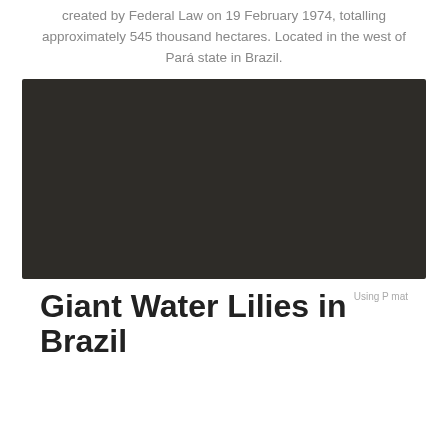created by Federal Law on 19 February 1974, totalling approximately 545 thousand hectares. Located in the west of Pará state in Brazil.
[Figure (photo): Dark, nearly black photograph — appears to be a very dark nature or aerial scene, details not discernible due to very low exposure.]
Giant Water Lilies in Brazil